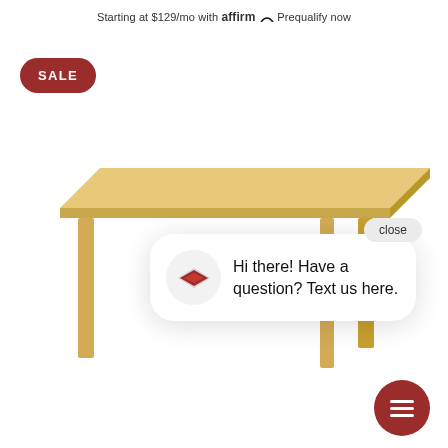Starting at $129/mo with affirm. Prequalify now
SALE
[Figure (photo): A light wood rectangular dining/coffee table with simple straight legs, photographed from a slight angle against a white background.]
close
Hi there! Have a question? Text us here.